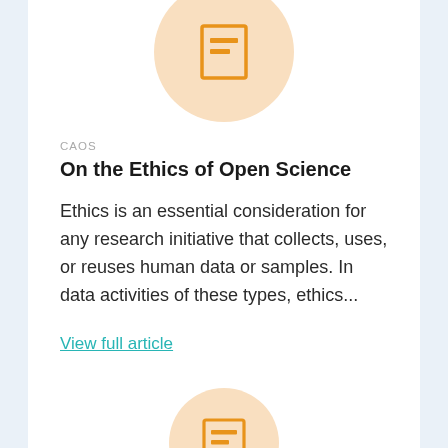[Figure (illustration): Orange document/article icon centered inside a peach-colored circle, partially cut off at top of card]
CAOS
On the Ethics of Open Science
Ethics is an essential consideration for any research initiative that collects, uses, or reuses human data or samples. In data activities of these types, ethics...
View full article
[Figure (illustration): Orange document/article icon centered inside a peach-colored circle, partially visible at bottom of page]